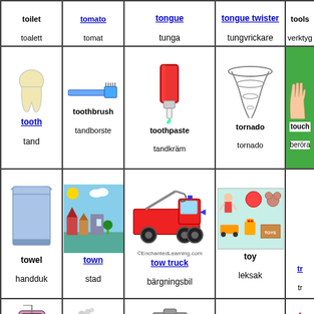| toilet / toalett | tomato / tomat | tongue / tunga | tongue twister / tungvrickare | tools / verktyg |
| tooth / tand (linked) | toothbrush / tandborste | toothpaste / tandkräm | tornado / tornado | touch / beröra |
| towel / handduk | town / stad (linked) | tow truck / bärgningsbil (linked) | toy / leksak | tr... / tr... |
| traffic light (picture) | train (picture) | trash can (picture) | tree (picture) | triangle (picture) |